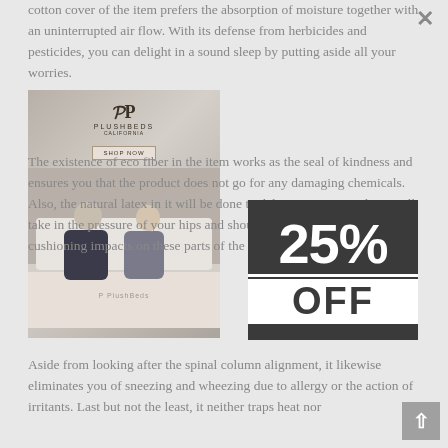cotton cover of the item prefers the absorption of moisture together with an uninterrupted air flow. With its defense from herbicides and pesticides, you can delight in a sound sleep by putting aside all your worries.
[Figure (photo): PlushBeds California mattress product image showing a couple sitting on a mattress, with the PlushBeds California logo and a SHOP NOW button visible.]
The existence of eco fiber in the item works as the seal of kindness and ensures you that the product does not go for any damaging chemicals. Also, the natural latex in it will be done to deliver pressure its latex will take in the pressure of your hips and shoulders to produce the cushioning impacts on these parts of the body.
[Figure (infographic): Discount promotional banner showing '25% OFF' in large bold white text on a dark grey background.]
Aside from looking after the spinal column alignment, it likewise eliminates you of sneezing and wheezing due to allergy or the action of irritants. Last but not the least, it neither traps heat nor